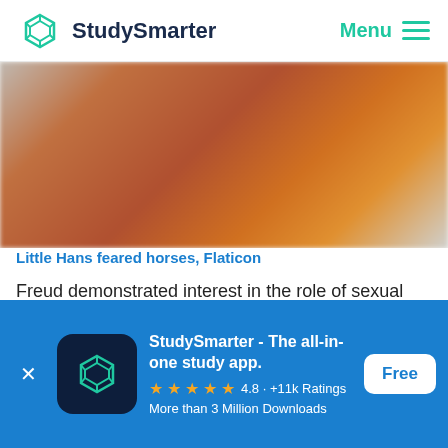StudySmarter   Menu
[Figure (photo): Blurred close-up photo of colorful circular object (orange, brown, yellow tones) with a pencil, cropped view on light gray background]
Little Hans feared horses, Flaticon
Freud demonstrated interest in the role of sexual drives concerned children's development. He focused on Little Han's psychosexual development to resolve the mystery about Hans' fear of horses. He believed that Little Hans
[Figure (screenshot): App download banner: StudySmarter - The all-in-one study app. 4.8 · +11k Ratings. More than 3 Million Downloads. Free button. Blue background with StudySmarter logo icon.]